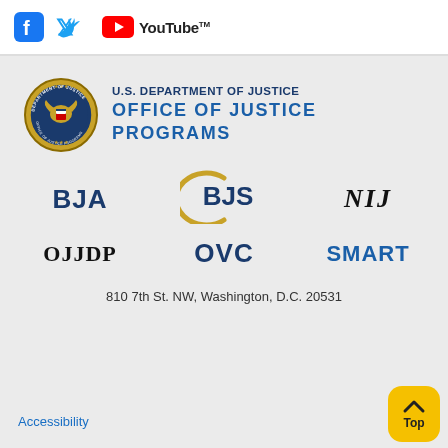[Figure (logo): Social media icons: Facebook, Twitter, YouTube]
[Figure (logo): U.S. Department of Justice, Office of Justice Programs seal and wordmark]
[Figure (logo): BJA logo]
[Figure (logo): BJS logo with gold arc]
[Figure (logo): NIJ logo in italic serif]
[Figure (logo): OJJDP logo]
[Figure (logo): OVC logo]
[Figure (logo): SMART logo]
810 7th St. NW, Washington, D.C. 20531
Accessibility
Top